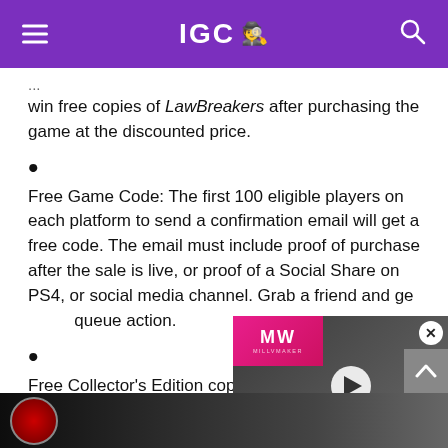IGC
win free copies of LawBreakers after purchasing the game at the discounted price.
Free Game Code: The first 100 eligible players on each platform to send a confirmation email will get a free code. The email must include proof of purchase after the sale is live, or proof of a Social Share on PS4, or social media channel. Grab a friend and get some queue action.
Free Collector's Edition copy: game code, the first 20 eligible senders will also receive a copy of the now sold out Collector's Edition
[Figure (screenshot): Video ad overlay showing 'BEST DRAGON GAMES' with a MW (Millionaire) logo on a pink/magenta background, dragon imagery, and a play button]
[Figure (photo): Bottom strip showing dark promotional imagery]